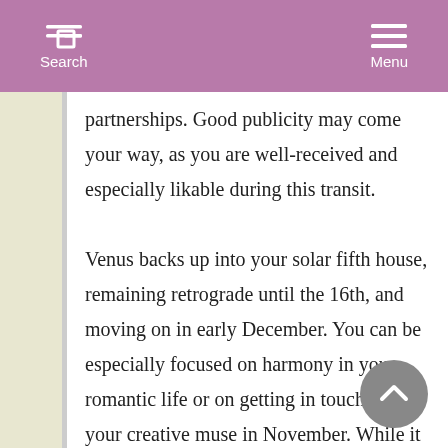Search  Menu
partnerships. Good publicity may come your way, as you are well-received and especially likable during this transit.

Venus backs up into your solar fifth house, remaining retrograde until the 16th, and moving on in early December. You can be especially focused on harmony in your romantic life or on getting in touch with your creative muse in November. While it may not be later this month or in December when you're likely to feel that things are indeed moving forward, this is a good time for looking at your creative and romantic life, as well